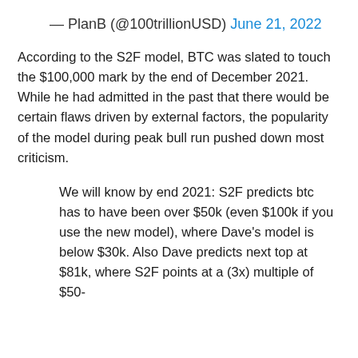— PlanB (@100trillionUSD) June 21, 2022
According to the S2F model, BTC was slated to touch the $100,000 mark by the end of December 2021. While he had admitted in the past that there would be certain flaws driven by external factors, the popularity of the model during peak bull run pushed down most criticism.
We will know by end 2021: S2F predicts btc has to have been over $50k (even $100k if you use the new model), where Dave’s model is below $30k. Also Dave predicts next top at $81k, where S2F points at a (3x) multiple of $50-